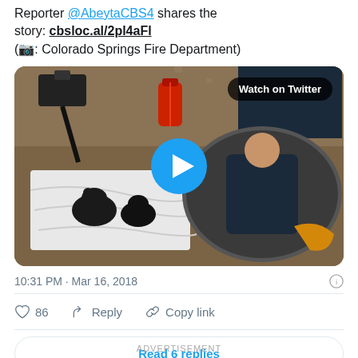Reporter @AbeytaCBS4 shares the story: cbsloc.al/2pl4aFl (📷: Colorado Springs Fire Department)
[Figure (screenshot): Twitter video thumbnail showing firefighters rescuing puppies from a manhole/underground opening. Black puppies visible on white cloth. Play button overlay. Watch on Twitter badge.]
10:31 PM · Mar 16, 2018
86  Reply  Copy link
Read 6 replies
ADVERTISEMENT